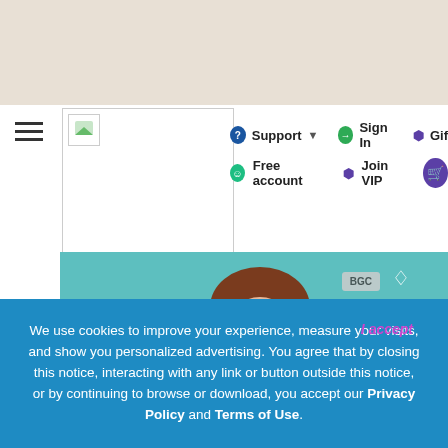[Figure (screenshot): Website navigation bar screenshot showing Support, Sign In, Gift, Free account, Join VIP, and cart buttons, with a game character image below on a teal background with BGC badge]
We use cookies to improve your experience, measure your visits, and show you personalized advertising. You agree that by closing this notice, interacting with any link or button outside this notice, or by continuing to browse or download, you accept our Privacy Policy and Terms of Use.
I accept